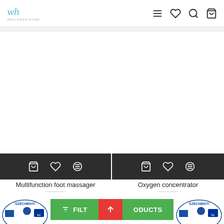wh [logo] — navigation icons: menu, heart, search, bag
[Figure (screenshot): Blank white product image area for two products]
[Figure (screenshot): Dark action bar with cart, heart, compare icons for Multifunction foot massager]
Multifunction foot massager
509,000Ft
[Figure (screenshot): Dark action bar with cart, heart, compare icons for Oxygen concentrator]
Oxygen concentrator
699,000Ft
[Figure (screenshot): Bottom buttons: FILTER PRODUCTS with green and red scroll-to-top button, and Széchenyi logos on both sides]